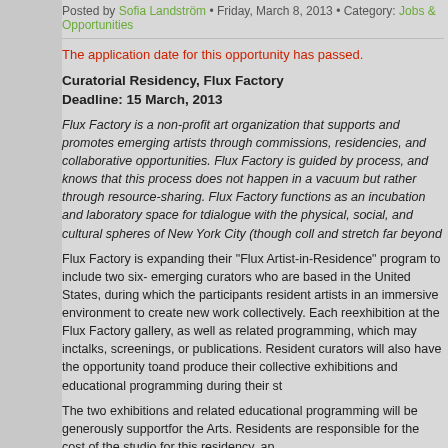Posted by Sofia Landström • Friday, March 8, 2013 • Category: Jobs & Opportunities
The application date for this opportunity has passed.
Curatorial Residency, Flux Factory
Deadline: 15 March, 2013
Flux Factory is a non-profit art organization that supports and promotes emerging artists through commissions, residencies, and collaborative opportunities. Flux Factory is guided by a belief in the social process, and knows that this process does not happen in a vacuum but rather through collaboration and resource-sharing. Flux Factory functions as an incubation and laboratory space for its members, in dialogue with the physical, social, and cultural spheres of New York City (though collaborations include and stretch far beyond
Flux Factory is expanding their "Flux Artist-in-Residence" program to include two six-month residencies for emerging curators who are based in the United States, during which the participants will work alongside resident artists in an immersive environment to create new work collectively. Each residency will culminate in an exhibition at the Flux Factory gallery, as well as related programming, which may include workshops, artist talks, screenings, or publications. Resident curators will also have the opportunity to develop, organize, and produce their collective exhibitions and educational programming during their stay.
The two exhibitions and related educational programming will be generously supported by the New York State Council for the Arts. Residents are responsible for the cost of the studio for this residency, approximately
Dates
1st residency:
May 1st, 2013 – November 1st, 2013
Culminating exhibition – mid-October

2nd residency
November 1st, 2013 – May 1st, 2014
Culminating exhibition – mid-April
To apply, please send a multi-page .pdf (10mb or less) that includes: